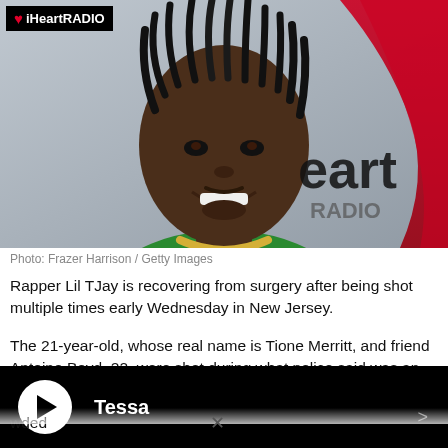[Figure (photo): Rapper Lil TJay smiling at an iHeartRadio event, wearing a green hoodie and gold chain necklace. The iHeartRadio logo and backdrop are visible.]
Photo: Frazer Harrison / Getty Images
Rapper Lil TJay is recovering from surgery after being shot multiple times early Wednesday in New Jersey.
The 21-year-old, whose real name is Tione Merritt, and friend Antoine Boyd, 22, were shot during what police said was an attempted robbery. A third man, Jeffrey Valdez, 24, was not wounded.